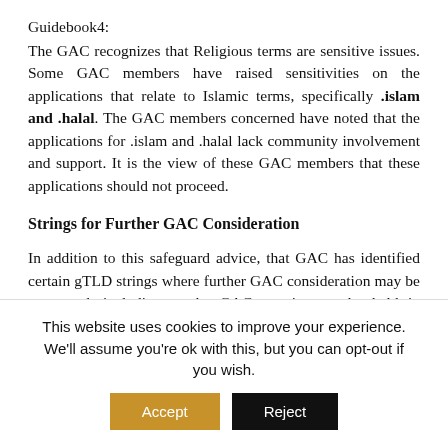Guidebook4:
The GAC recognizes that Religious terms are sensitive issues. Some GAC members have raised sensitivities on the applications that relate to Islamic terms, specifically .islam and .halal. The GAC members concerned have noted that the applications for .islam and .halal lack community involvement and support. It is the view of these GAC members that these applications should not proceed.
Strings for Further GAC Consideration
In addition to this safeguard advice, that GAC has identified certain gTLD strings where further GAC consideration may be warranted, including at the GAC meetings to be held in Durban. Consequently, the
This website uses cookies to improve your experience. We'll assume you're ok with this, but you can opt-out if you wish.
Accept | Reject